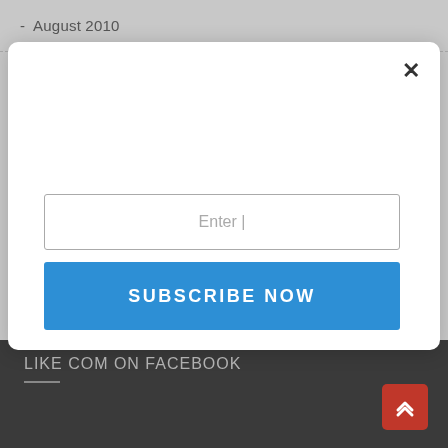- August 2010
[Figure (screenshot): Modal dialog with an email input field labeled 'Enter |' and a blue 'SUBSCRIBE NOW' button, with a close (×) button in the top right corner.]
LIKE COM ON FACEBOOK